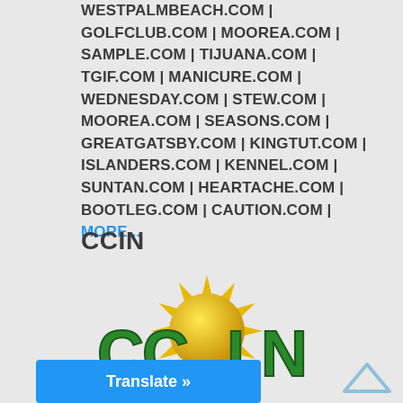WESTPALMBEACH.COM | GOLFCLUB.COM | MOOREA.COM | SAMPLE.COM | TIJUANA.COM | TGIF.COM | MANICURE.COM | WEDNESDAY.COM | STEW.COM | MOOREA.COM | SEASONS.COM | GREATGATSBY.COM | KINGTUT.COM | ISLANDERS.COM | KENNEL.COM | SUNTAN.COM | HEARTACHE.COM | BOOTLEG.COM | CAUTION.COM | MORE...
CCIN
[Figure (logo): CCIN logo — a golden sun with rays behind large green 3D block letters spelling CCIN]
Translate »